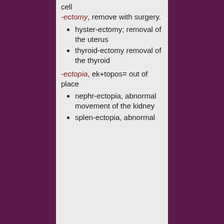cell
-ectomy, remove with surgery.
hyster-ectomy; removal of the uterus
thyroidectomy removal of the thyroid
-ectopia, ek+topos= out of place
nephr-ectopia, abnormal movement of the kidney
splen-ectopia, abnormal movement of the spleen